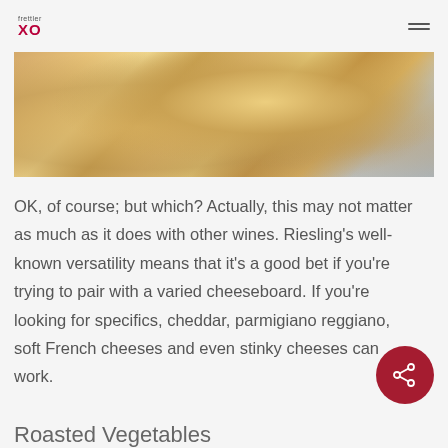frettler XO
[Figure (photo): Photo of cheese pieces on a wooden cutting board]
OK, of course; but which? Actually, this may not matter as much as it does with other wines. Riesling’s well-known versatility means that it’s a good bet if you’re trying to pair with a varied cheeseboard. If you’re looking for specifics, cheddar, parmigiano reggiano, soft French cheeses and even stinky cheeses can work.
Roasted Vegetables